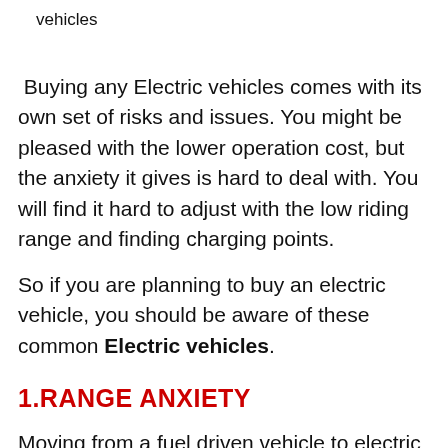vehicles
Buying any Electric vehicles comes with its own set of risks and issues. You might be pleased with the lower operation cost, but the anxiety it gives is hard to deal with. You will find it hard to adjust with the low riding range and finding charging points.
So if you are planning to buy an electric vehicle, you should be aware of these common Electric vehicles.
1.RANGE ANXIETY
Moving from a fuel driven vehicle to electric is...